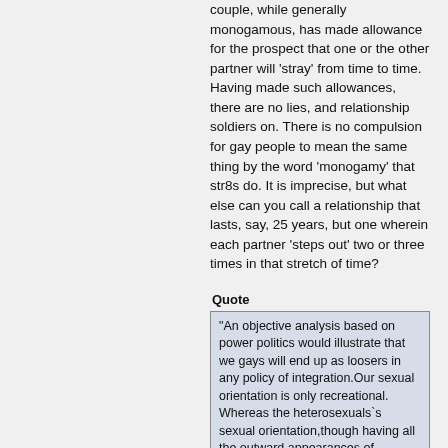couple, while generally monogamous, has made allowance for the prospect that one or the other partner will 'stray' from time to time. Having made such allowances, there are no lies, and relationship soldiers on. There is no compulsion for gay people to mean the same thing by the word 'monogamy' that str8s do. It is imprecise, but what else can you call a relationship that lasts, say, 25 years, but one wherein each partner 'steps out' two or three times in that stretch of time?
Quote
"An objective analysis based on power politics would illustrate that we gays will end up as loosers in any policy of integration.Our sexual orientation is only recreational. Whereas the heterosexuals`s sexual orientation,though having all the outward appearances of